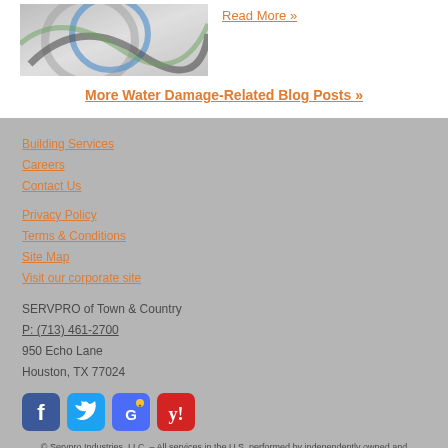[Figure (photo): Photo of cables and wires (close-up)]
Read More »
More Water Damage-Related Blog Posts »
Building Services
Careers
Contact Us
Privacy Policy
Terms & Conditions
Site Map
Visit our corporate site
SERVPRO of Town & Country
P: (713) 461-2700
950 Echo Lane
Houston, TX 77024
[Figure (logo): Social media icons: Facebook, Twitter, Google, Yelp]
© Servpro Industries, LLC. – All services in the U.S. performed by independently owned and operated franchises of Servpro Industries, LLC.
© Servpro Industries (Canada) ULC – All services in Canada performed by independently owned and operated franchises of Servpro Industries (Canada) ULC.